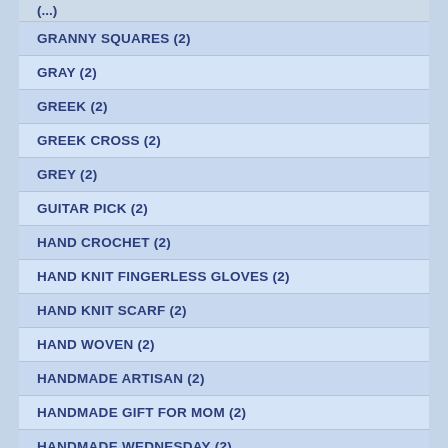(…)
GRANNY SQUARES (2)
GRAY (2)
GREEK (2)
GREEK CROSS (2)
GREY (2)
GUITAR PICK (2)
HAND CROCHET (2)
HAND KNIT FINGERLESS GLOVES (2)
HAND KNIT SCARF (2)
HAND WOVEN (2)
HANDMADE ARTISAN (2)
HANDMADE GIFT FOR MOM (2)
HANDMADE WEDNESDAY (2)
HATS (2)
HAWAIIAN (2)
HEALER'S HAND (2)
HEART GIFTS (2)